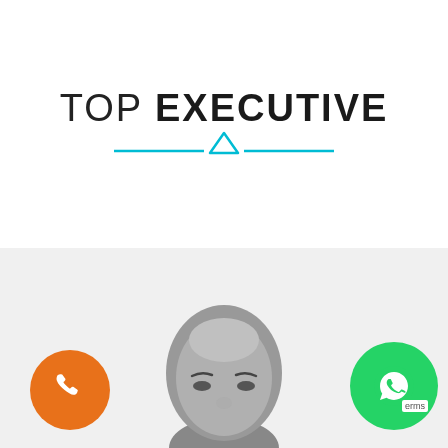TOP EXECUTIVE
[Figure (illustration): Cyan decorative divider with a triangle/arrow pointing up in the center, flanked by horizontal lines on each side]
[Figure (photo): Grayscale close-up photo of a person's face (head and upper face visible), cropped at the bottom of the frame, on a light gray background]
[Figure (illustration): Orange circular phone call button with a white telephone handset icon]
[Figure (illustration): Green circular WhatsApp button with white WhatsApp logo icon]